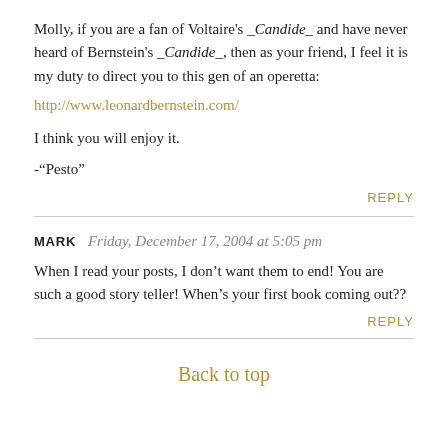Molly, if you are a fan of Voltaire's _Candide_ and have never heard of Bernstein's _Candide_, then as your friend, I feel it is my duty to direct you to this gen of an operetta:
http://www.leonardbernstein.com/
I think you will enjoy it.
-“Pesto”
REPLY
MARK   Friday, December 17, 2004 at 5:05 pm
When I read your posts, I don’t want them to end! You are such a good story teller! When’s your first book coming out??
REPLY
Back to top